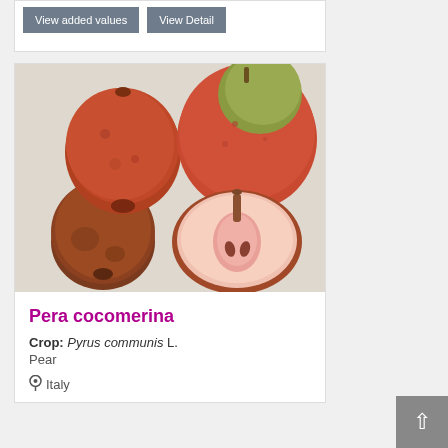View added values | View Detail
[Figure (photo): Photo of Pera cocomerina pears: three whole red-brown pears and one pear cut in half showing the pink flesh and core, on a white background.]
Pera cocomerina
Crop: Pyrus communis L.
Pear
Italy